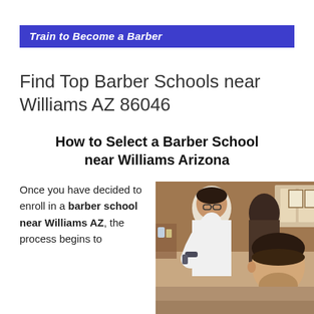Train to Become a Barber
Find Top Barber Schools near Williams AZ 86046
How to Select a Barber School near Williams Arizona
Once you have decided to enroll in a barber school near Williams AZ, the process begins to
[Figure (photo): A barber working on a client's hair in a barbershop setting]